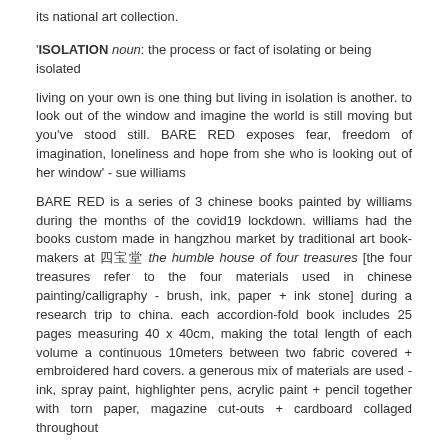its national art collection.
'ISOLATION noun: the process or fact of isolating or being isolated
living on your own is one thing but living in isolation is another. to look out of the window and imagine the world is still moving but you've stood still. BARE RED exposes fear, freedom of imagination, loneliness and hope from she who is looking out of her window' - sue williams
BARE RED is a series of 3 chinese books painted by williams during the months of the covid19 lockdown. williams had the books custom made in hangzhou market by traditional art book-makers at 四寶堂 the humble house of four treasures [the four treasures refer to the four materials used in chinese painting/calligraphy - brush, ink, paper + ink stone] during a research trip to china. each accordion-fold book includes 25 pages measuring 40 x 40cm, making the total length of each volume a continuous 10meters between two fabric covered + embroidered hard covers. a generous mix of materials are used - ink, spray paint, highlighter pens, acrylic paint + pencil together with torn paper, magazine cut-outs + cardboard collaged throughout
https://www.gallery-ten.co.uk/studio-sue-williams
https://vimeo.com/517347404